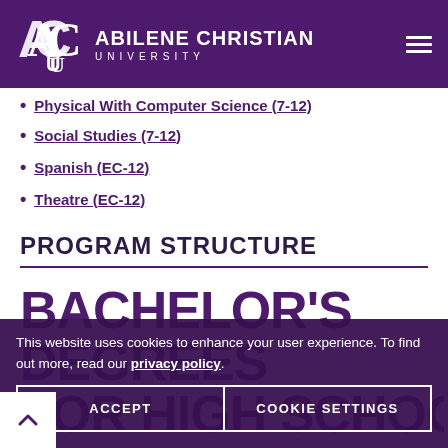Abilene Christian University
Physical With Computer Science (7-12)
Social Studies (7-12)
Spanish (EC-12)
Theatre (EC-12)
PROGRAM STRUCTURE
BACHELOR'S DEGREES FOR HIGH SCHOOL
This website uses cookies to enhance your user experience. To find out more, read our privacy policy.
ACCEPT | COOKIE SETTINGS